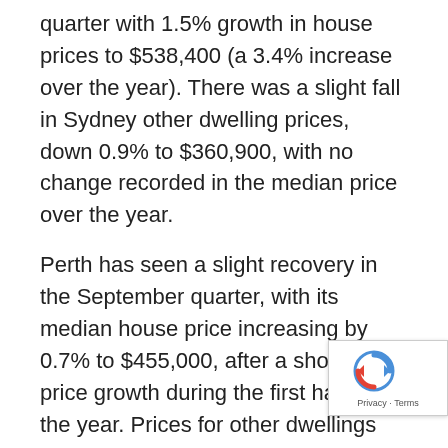quarter with 1.5% growth in house prices to $538,400 (a 3.4% increase over the year). There was a slight fall in Sydney other dwelling prices, down 0.9% to $360,900, with no change recorded in the median price over the year.
Perth has seen a slight recovery in the September quarter, with its median house price increasing by 0.7% to $455,000, after a short lull in price growth during the first half of the year. Prices for other dwellings were stronger however, with a 2.8% quarterly growth and an 8.8% annual growth to $370,000.
Like Perth, Darwin house prices have not shown much growth in the quarter, up 1.3% to $400,000 (a 3.9% increase over the year. Other dwelling prices how have skyrocketed, with a 14.6% quarterly increas $320,000 (a 28.3% increase for the year to